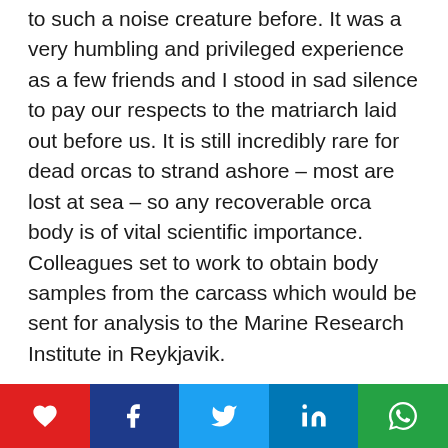to such a noise creature before. It was a very humbling and privileged experience as a few friends and I stood in sad silence to pay our respects to the matriarch laid out before us. It is still incredibly rare for dead orcas to strand ashore – most are lost at sea – so any recoverable orca body is of vital scientific importance. Colleagues set to work to obtain body samples from the carcass which would be sent for analysis to the Marine Research Institute in Reykjavik.
[Figure (infographic): Social media sharing bar with five buttons: heart/like (red), Facebook (dark blue), Twitter (light blue), LinkedIn (blue), WhatsApp (green)]